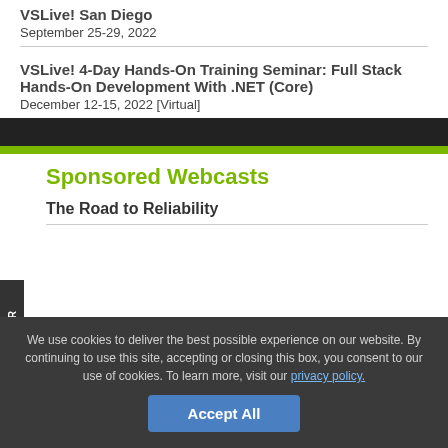VSLive! San Diego
September 25-29, 2022
VSLive! 4-Day Hands-On Training Seminar: Full Stack Hands-On Development With .NET (Core)
December 12-15, 2022 [Virtual]
Sponsored Webcasts
The Road to Reliability
We use cookies to deliver the best possible experience on our website. By continuing to use this site, accepting or closing this box, you consent to our use of cookies. To learn more, visit our privacy policy.